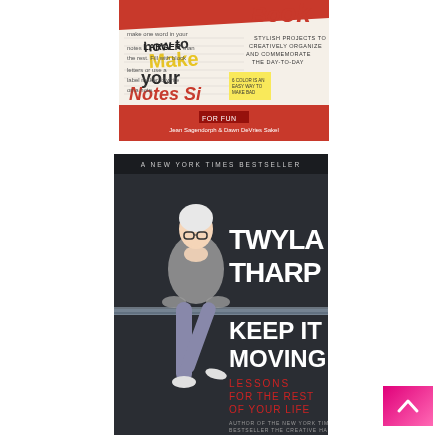[Figure (photo): Book cover: 'Make Your Notes Sing' - a stylish notebook/bullet journal book by Jean Sagendorph & Dawn DeVries Sobol, showing handwritten notes and colorful lettering examples. Red and white cover.]
[Figure (photo): Book cover: 'Keep It Moving: Lessons for the Rest of Your Life' by Twyla Tharp. A New York Times Bestseller. Shows author Twyla Tharp (elderly woman with white hair and glasses, wearing grey outfit) leaning on a ballet barre. Dark background with white and red text.]
[Figure (other): Pink scroll-to-top button with upward arrow chevron in bottom right corner.]